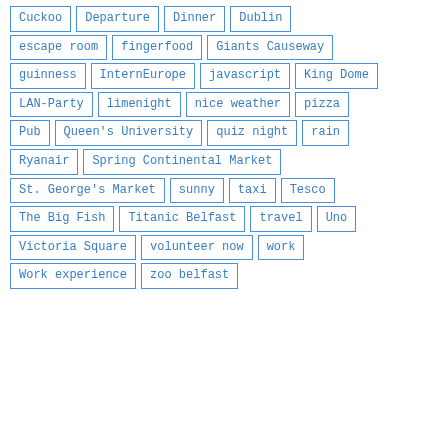Cuckoo
Departure
Dinner
Dublin
escape room
fingerfood
Giants Causeway
guinness
InternEurope
javascript
King Dome
LAN-Party
limenight
nice weather
pizza
Pub
Queen's University
quiz night
rain
Ryanair
Spring Continental Market
St. George's Market
sunny
taxi
Tesco
The Big Fish
Titanic Belfast
travel
Uno
Victoria Square
volunteer now
work
Work experience
zoo belfast